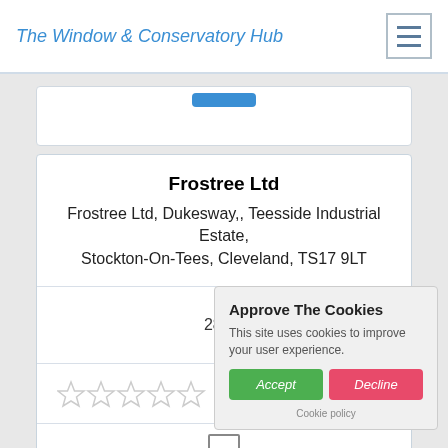The Window & Conservatory Hub
28.01
Frostree Ltd
Frostree Ltd, Dukesway,, Teesside Industrial Estate, Stockton-On-Tees, Cleveland, TS17 9LT
[Figure (other): Cookie consent popup with Accept and Decline buttons. Title: Approve The Cookies. Text: This site uses cookies to improve your user experience. Cookie policy link at bottom.]